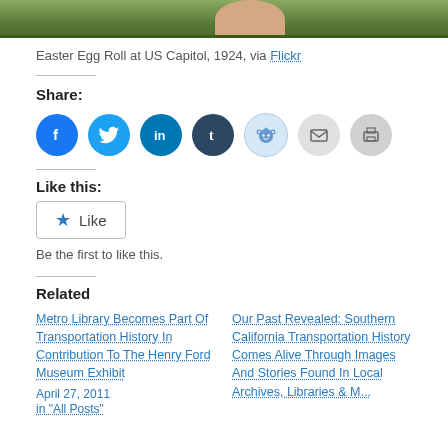[Figure (photo): Partial photo of Easter Egg Roll at US Capitol, 1924, showing grass and a person's legs/feet]
Easter Egg Roll at US Capitol, 1924, via Flickr
Share:
[Figure (infographic): Social sharing icons: Facebook, Twitter, LinkedIn, Tumblr, Reddit, Email, Print]
Like this:
Like
Be the first to like this.
Related
Metro Library Becomes Part Of Transportation History In Contribution To The Henry Ford Museum Exhibit
April 27, 2011
Our Past Revealed: Southern California Transportation History Comes Alive Through Images And Stories Found In Local Archives, Libraries & M...